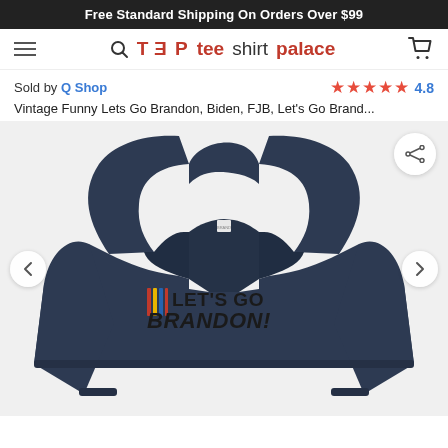Free Standard Shipping On Orders Over $99
[Figure (logo): Tee Shirt Palace logo with hamburger menu, search icon, and cart icon in navigation bar]
Sold by Q Shop
★★★★★ 4.8
Vintage Funny Lets Go Brandon, Biden, FJB, Let's Go Brand...
[Figure (photo): Navy blue hoodie sweatshirt with 'LET'S GO BRANDON!' printed on the chest with NASCAR-style racing stripe graphics in red, yellow, and blue]